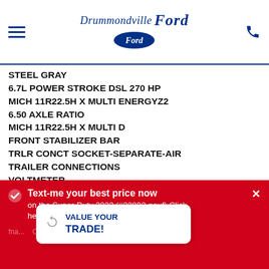Drummondville Ford
STEEL GRAY
6.7L POWER STROKE DSL 270 HP
MICH 11R22.5H X MULTI ENERGYZ2
6.50 AXLE RATIO
MICH 11R22.5H X MULTI D
FRONT STABILIZER BAR
TRLR CONCT SOCKET-SEPARATE-AIR
TRAILER CONNECTIONS
VOLTMETER
RF MARKER/CLRNCE LIGHTS CLEAR
MUD FLAP HOLDER W/FLAPS
DUAL HEAVY DUTY ALTERNATOR 357
BACKUP ALARM ELECTRIC
ELEC STABILITY CONTROL DELETE
[RADE
S
FRENCH LABELS
FRONT AXLE - 12K CAPACITY
SINGLE 21K CAR W/LKG DIFF
VALUE YOUR TRADE!
Text-me your best price now on the Super-Duty 2023 (#23002-neuf) Click here.